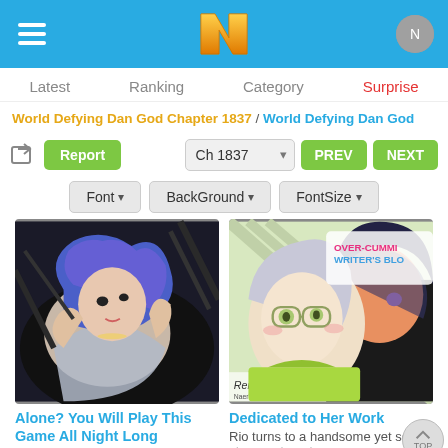[Figure (screenshot): App header bar with hamburger menu icon on left, golden N logo in center, circular avatar icon on right, all on blue background]
Latest | Ranking | Category | Surprise
World Defying Dan God Chapter 1837 / World Defying Dan God
Report   Ch 1837 ▾   PREV   NEXT
Font ▾   BackGround ▾   FontSize ▾
[Figure (illustration): Manga/anime style illustration of a woman with blue and purple hair wearing a silver outfit]
[Figure (illustration): Manga cover image showing anime characters with text OVER-CUMMING WRITER'S BLOCK and Renta! logo]
Alone? You Will Play This Game All Night Long
Play Now
Dedicated to Her Work
Rio turns to a handsome yet scary stranger to get